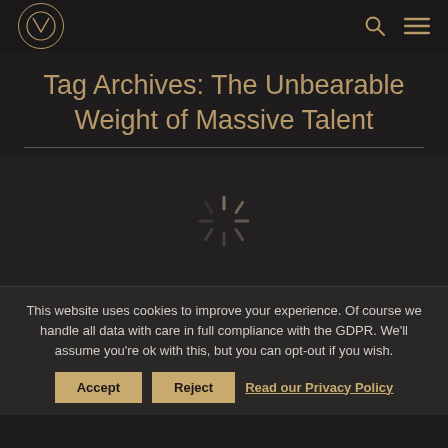Navigation bar with logo, search icon, and menu icon
Tag Archives: The Unbearable Weight of Massive Talent
[Figure (other): Loading spinner / activity indicator in the center of the content area]
This website uses cookies to improve your experience. Of course we handle all data with care in full compliance with the GDPR. We'll assume you're ok with this, but you can opt-out if you wish.
Accept | Reject | Read our Privacy Policy